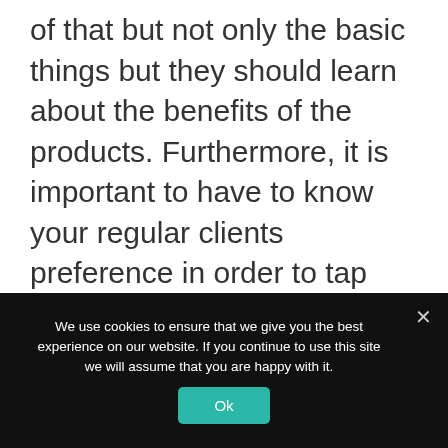of that but not only the basic things but they should learn about the benefits of the products. Furthermore, it is important to have to know your regular clients preference in order to tap wider to the industry. Keep this in mind; the training should not only be a one-off thing but also invest in ongoing training to keep the staff motivated for new opportunities such as salary increase or promotions.
We use cookies to ensure that we give you the best experience on our website. If you continue to use this site we will assume that you are happy with it.